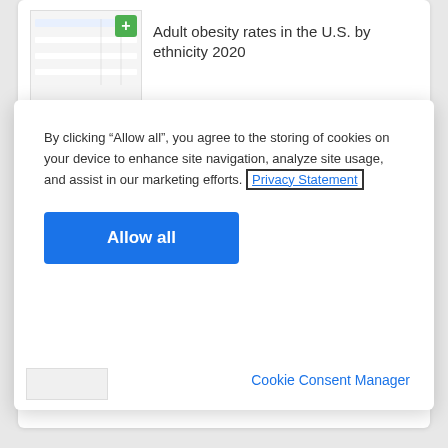Adult obesity rates in the U.S. by ethnicity 2020
By clicking “Allow all”, you agree to the storing of cookies on your device to enhance site navigation, analyze site usage, and assist in our marketing efforts. Privacy Statement
Allow all
Cookie Consent Manager
More statistics on this topic